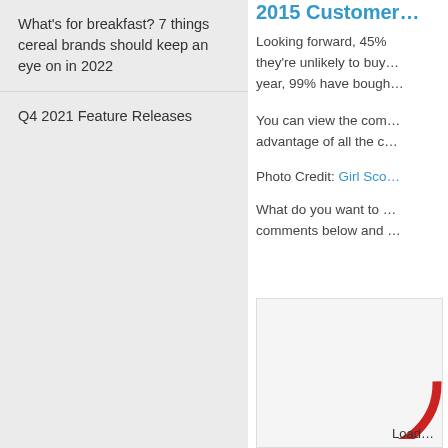What's for breakfast? 7 things cereal brands should keep an eye on in 2022
Q4 2021 Feature Releases
2015 Customer…
Looking forward, 45%… they're unlikely to buy… year, 99% have bough…
You can view the com… advantage of all the c…
Photo Credit: Girl Sco…
What do you want to … comments below and …
[Figure (other): Loading spinner/circle graphic with red circle arc, partially visible, with 'Load…' text at bottom right]